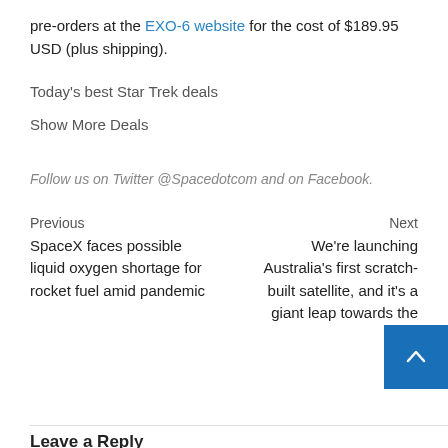pre-orders at the EXO-6 website for the cost of $189.95 USD (plus shipping).
Today's best Star Trek deals
Show More Deals
Follow us on Twitter @Spacedotcom and on Facebook.
Previous
SpaceX faces possible liquid oxygen shortage for rocket fuel amid pandemic
Next
We're launching Australia's first scratch-built satellite, and it's a giant leap towards the
Leave a Reply